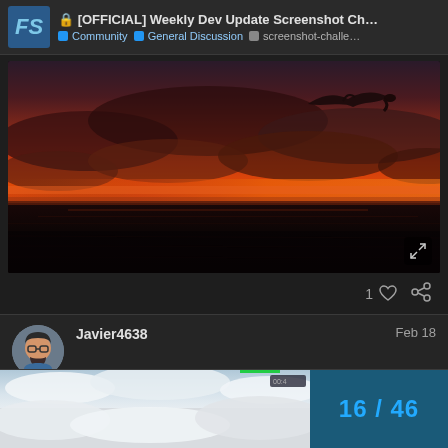[OFFICIAL] Weekly Dev Update Screenshot Ch... | Community | General Discussion | screenshot-challe...
[Figure (screenshot): Flight simulator ocean/sunset scene with dramatic red sky, dark water, and a bird silhouette in upper right]
1 ♡ 🔗
Javier4638   Feb 18
[Figure (screenshot): Flight simulator winter/snow scene with clouds, partial view. Page indicator showing 16 / 46]